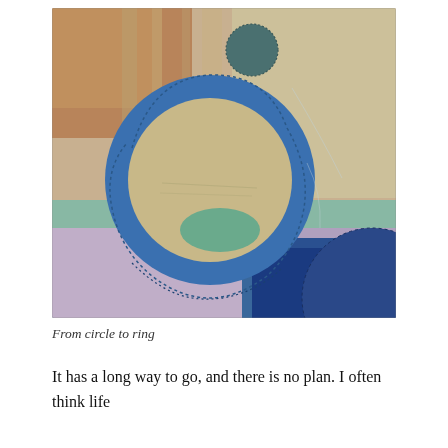[Figure (photo): Close-up photograph of a textile/quilt with appliquéd fabric circles and rings. The fabric shows a large blue circular ring appliqué with hand stitching, a smaller dark teal circle near the top, and an arc at the bottom right. Background fabrics in warm tan/peach stripes, soft lavender, teal/green, and deep blue sections.]
From circle to ring
It has a long way to go, and there is no plan. I often think life